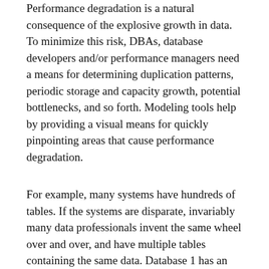Performance degradation is a natural consequence of the explosive growth in data. To minimize this risk, DBAs, database developers and/or performance managers need a means for determining duplication patterns, periodic storage and capacity growth, potential bottlenecks, and so forth. Modeling tools help by providing a visual means for quickly pinpointing areas that cause performance degradation.
For example, many systems have hundreds of tables. If the systems are disparate, invariably many data professionals invent the same wheel over and over, and have multiple tables containing the same data. Database 1 has an object called A, and database 2 has an object called B, but the objects are the same. With a model-driven approach, the user can quickly identify patterns of duplication — i.e. pinpoint the